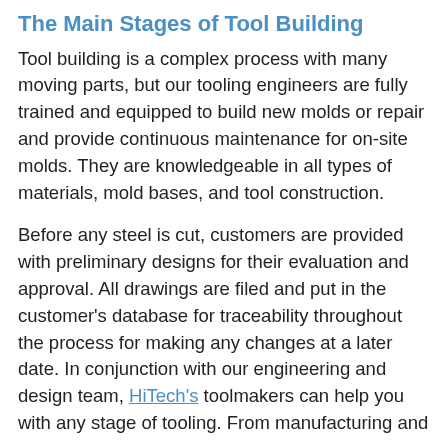The Main Stages of Tool Building
Tool building is a complex process with many moving parts, but our tooling engineers are fully trained and equipped to build new molds or repair and provide continuous maintenance for on-site molds. They are knowledgeable in all types of materials, mold bases, and tool construction.
Before any steel is cut, customers are provided with preliminary designs for their evaluation and approval. All drawings are filed and put in the customer's database for traceability throughout the process for making any changes at a later date. In conjunction with our engineering and design team, HiTech's toolmakers can help you with any stage of tooling. From manufacturing and